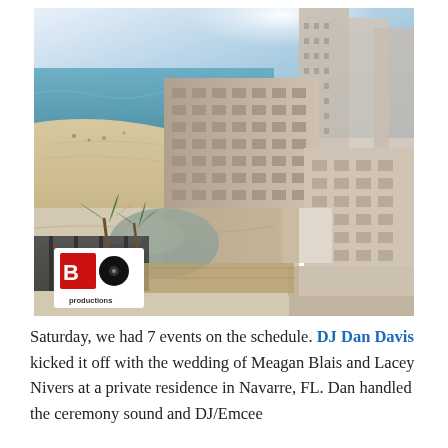[Figure (photo): Aerial view of a beachside hotel resort with pool area, palm trees, and ocean in the background. A BBoy Productions logo is visible in the lower-left corner of the photo.]
Saturday, we had 7 events on the schedule. DJ Dan Davis kicked it off with the wedding of Meagan Blais and Lacey Nivers at a private residence in Navarre, FL. Dan handled the ceremony sound and DJ/Emcee